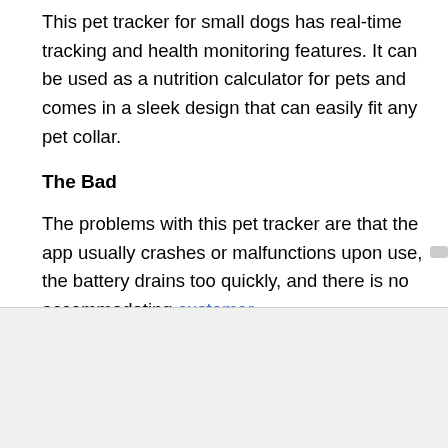This pet tracker for small dogs has real-time tracking and health monitoring features. It can be used as a nutrition calculator for pets and comes in a sleek design that can easily fit any pet collar.
The Bad
The problems with this pet tracker are that the app usually crashes or malfunctions upon use, the battery drains too quickly, and there is no accommodating customer